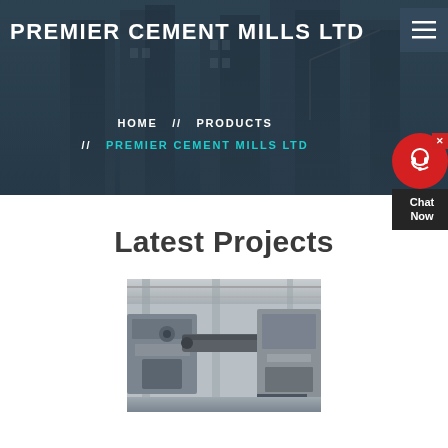PREMIER CEMENT MILLS LTD
HOME // PRODUCTS // PREMIER CEMENT MILLS LTD
Latest Projects
[Figure (photo): Industrial cement plant machinery and conveyor equipment inside a large facility]
[Figure (other): Chat Now customer support widget with red background and headset icon]